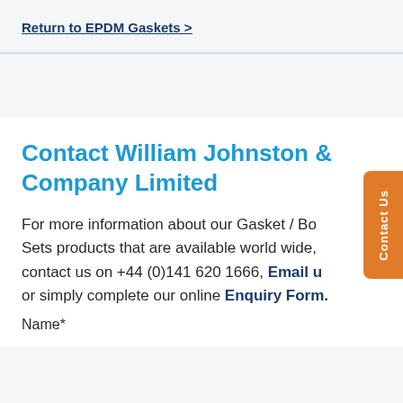Return to EPDM Gaskets >
Contact William Johnston & Company Limited
For more information about our Gasket / Bo... Sets products that are available world wide, contact us on +44 (0)141 620 1666, Email us or simply complete our online Enquiry Form.
Name*